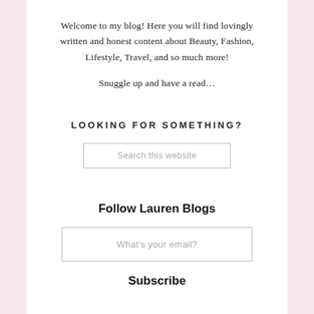Welcome to my blog! Here you will find lovingly written and honest content about Beauty, Fashion, Lifestyle, Travel, and so much more!
Snuggle up and have a read…
LOOKING FOR SOMETHING?
Search this website
Follow Lauren Blogs
What's your email?
Subscribe